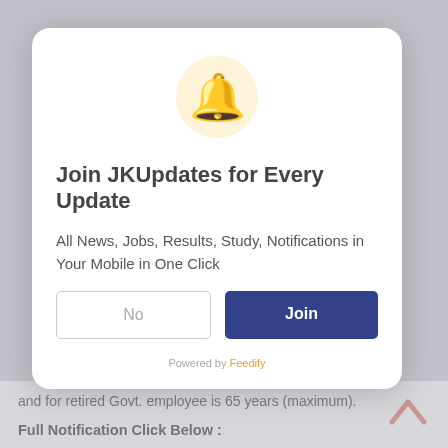[Figure (illustration): Notification bell emoji inside a light yellow circle]
Join JKUpdates for Every Update
All News, Jobs, Results, Study, Notifications in Your Mobile in One Click
No | Join (buttons)
Powered by Feedify
and for retired Govt. employee is 65 years (maximum).
Full Notification Click Below :